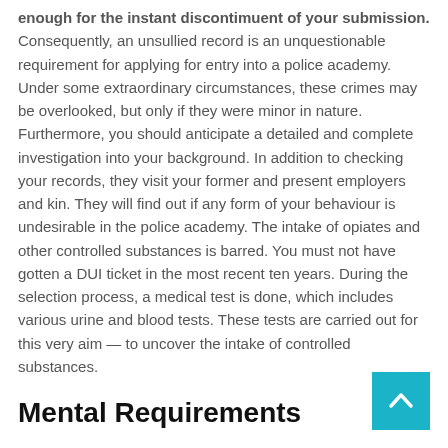enough for the instant discontimuent of your submission. Consequently, an unsullied record is an unquestionable requirement for applying for entry into a police academy. Under some extraordinary circumstances, these crimes may be overlooked, but only if they were minor in nature. Furthermore, you should anticipate a detailed and complete investigation into your background. In addition to checking your records, they visit your former and present employers and kin. They will find out if any form of your behaviour is undesirable in the police academy. The intake of opiates and other controlled substances is barred. You must not have gotten a DUI ticket in the most recent ten years. During the selection process, a medical test is done, which includes various urine and blood tests. These tests are carried out for this very aim — to uncover the intake of controlled substances.
Mental Requirements
All police officers need to be mentally tough. They come across a lot of gruesome images every day, especially homicide detectives. They need to have adequate mental